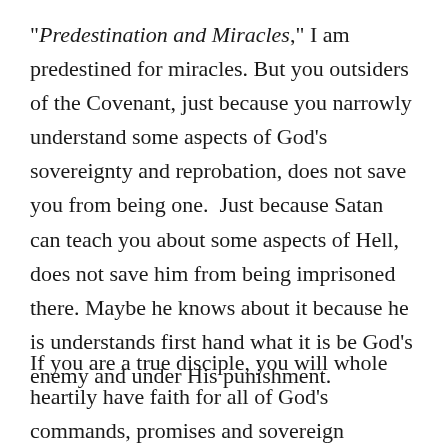“Predestination and Miracles,” I am predestined for miracles. But you outsiders of the Covenant, just because you narrowly understand some aspects of God’s sovereignty and reprobation, does not save you from being one.  Just because Satan can teach you about some aspects of Hell, does not save him from being imprisoned there. Maybe he knows about it because he is understands first hand what it is be God’s enemy and under His punishment.
If you are a true disciple, you will whole heartily have faith for all of God’s commands, promises and sovereign faithfulness. Those who have been “born from above” do not make excuses for their